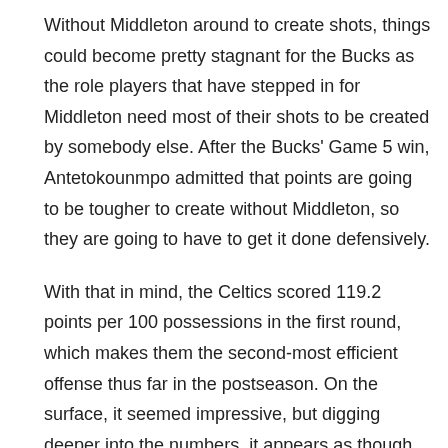Without Middleton around to create shots, things could become pretty stagnant for the Bucks as the role players that have stepped in for Middleton need most of their shots to be created by somebody else. After the Bucks' Game 5 win, Antetokounmpo admitted that points are going to be tougher to create without Middleton, so they are going to have to get it done defensively.
With that in mind, the Celtics scored 119.2 points per 100 possessions in the first round, which makes them the second-most efficient offense thus far in the postseason. On the surface, it seemed impressive, but digging deeper into the numbers, it appears as though they never scored all that efficiently in half-court settings outside of Game 2, per Cleaning the Glass, and instead destroyed the Nets' lazy transition defense on a nightly basis.
You both kept a close eye on the Celtics in that series against the Nets, what is the truth about the Celtics' offense? Is it the elite unit that showed up in the first round? Or just an above-average